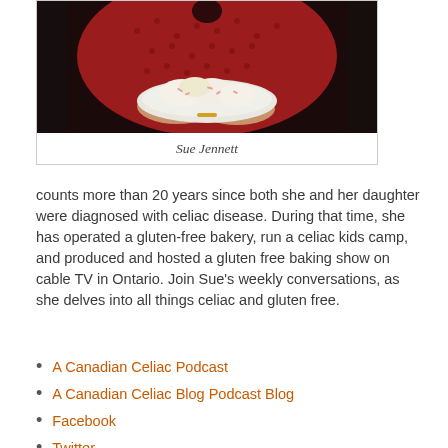[Figure (photo): Woman in red patterned top holding a plate of decorated cookies/pastries]
Sue Jennett
counts more than 20 years since both she and her daughter were diagnosed with celiac disease. During that time, she has operated a gluten-free bakery, run a celiac kids camp, and produced and hosted a gluten free baking show on cable TV in Ontario. Join Sue’s weekly conversations, as she delves into all things celiac and gluten free.
A Canadian Celiac Podcast
A Canadian Celiac Blog Podcast Blog
Facebook
Twitter